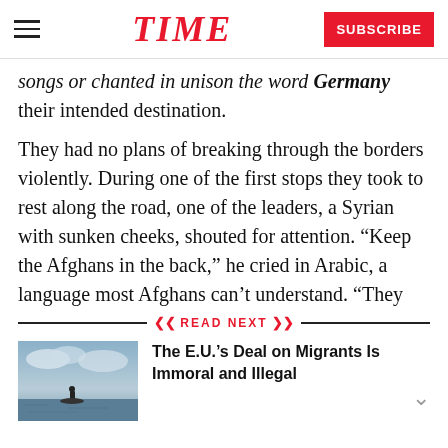TIME  SUBSCRIBE
songs or chanted in unison the word Germany their intended destination.
They had no plans of breaking through the borders violently. During one of the first stops they took to rest along the road, one of the leaders, a Syrian with sunken cheeks, shouted for attention. “Keep the Afghans in the back,” he cried in Arabic, a language most Afghans can’t understand. “They
READ NEXT
[Figure (photo): Photo of a person silhouetted against a seaside/ocean sky, sunset or overcast light]
The E.U.’s Deal on Migrants Is Immoral and Illegal